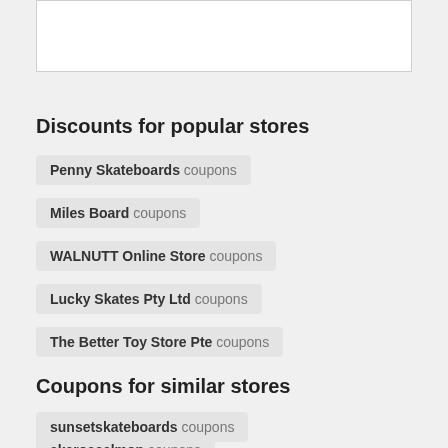[Figure (other): White rectangular box at top of page]
Discounts for popular stores
Penny Skateboards coupons
Miles Board coupons
WALNUTT Online Store coupons
Lucky Skates Pty Ltd coupons
The Better Toy Store Pte coupons
Coupons for similar stores
sunsetskateboards coupons
akaroasalmon coupons
cronullaskinsanctuary coupons